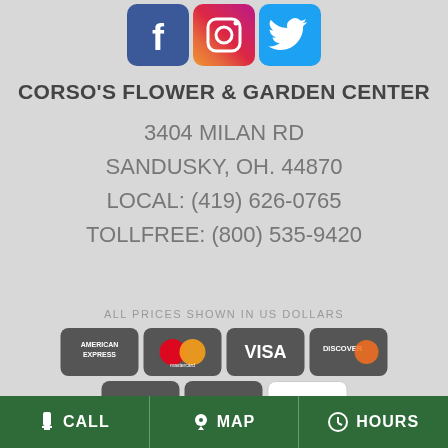[Figure (logo): Social media icons: Facebook, Instagram, Twitter]
CORSO'S FLOWER & GARDEN CENTER
3404 MILAN RD
SANDUSKY, OH. 44870
LOCAL: (419) 626-0765
TOLLFREE: (800) 535-9420
ALL PRICES SHOWN IN US DOLLARS
[Figure (logo): Payment method logos: American Express, Mastercard, Visa, Discover, PayPal, Apple Pay, Google Pay]
CALL   MAP   HOURS